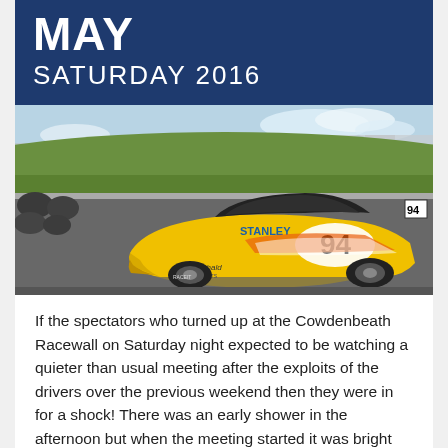MAY
SATURDAY 2016
[Figure (photo): Yellow race car number 94 on a racetrack at Cowdenbeath Racewall, with spectator stands and trees in the background.]
If the spectators who turned up at the Cowdenbeath Racewall on Saturday night expected to be watching a quieter than usual meeting after the exploits of the drivers over the previous weekend then they were in for a shock! There was an early shower in the afternoon but when the meeting started it was bright and sunny, the track was dry although it did get colder towards the end of the meeting.